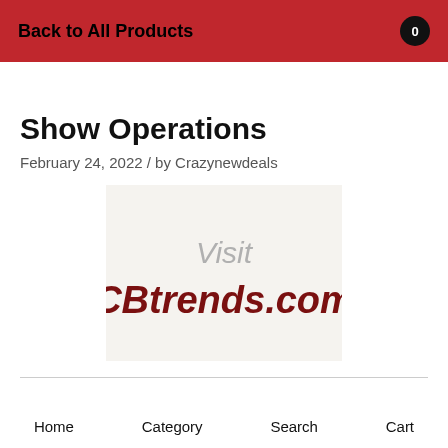Back to All Products   0
Show Operations
February 24, 2022 / by Crazynewdeals
[Figure (illustration): Promotional image showing 'Visit CBtrends.com' text on a light beige background]
Home   Category   Search   Cart